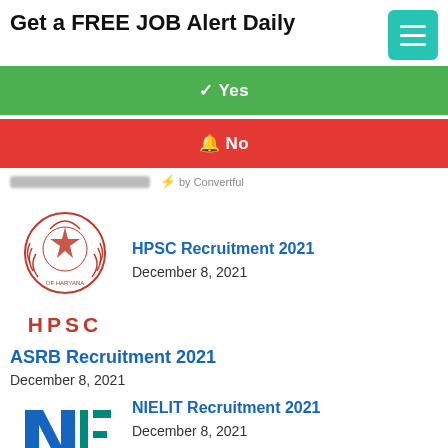Get a FREE JOB Alert Daily
✓ Yes
🔔 No
⚡ by Convertful
HPSC Recruitment 2021
December 8, 2021
[Figure (logo): HPSC (Haryana Public Service Commission) logo with red emblem and HPSC text]
ASRB Recruitment 2021
December 8, 2021
[Figure (logo): NIELIT logo (partial, blue and teal)]
NIELIT Recruitment 2021
December 8, 2021